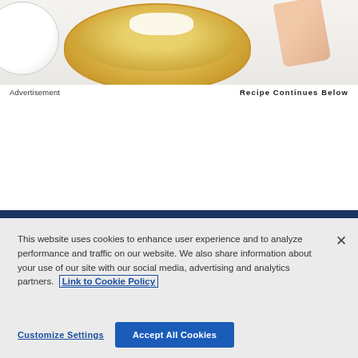[Figure (photo): Top-down view of a lemon/custard pie in a glass dish being spread with cream using a spatula, with a white plate visible on the left, on a marble surface.]
Advertisement
Recipe Continues Below
This website uses cookies to enhance user experience and to analyze performance and traffic on our website. We also share information about your use of our site with our social media, advertising and analytics partners. Link to Cookie Policy
Customize Settings
Accept All Cookies